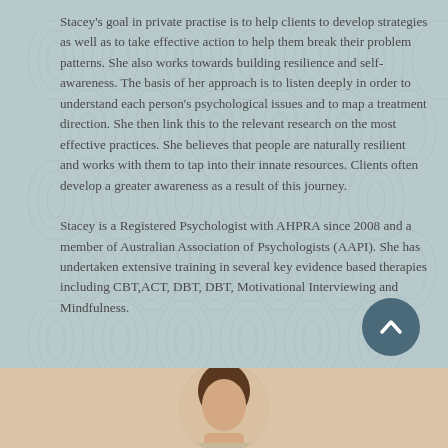Stacey's goal in private practise is to help clients to develop strategies as well as to take effective action to help them break their problem patterns. She also works towards building resilience and self-awareness. The basis of her approach is to listen deeply in order to understand each person's psychological issues and to map a treatment direction. She then link this to the relevant research on the most effective practices. She believes that people are naturally resilient and works with them to tap into their innate resources. Clients often develop a greater awareness as a result of this journey.
Stacey is a Registered Psychologist with AHPRA since 2008 and a member of Australian Association of Psychologists (AAPI). She has undertaken extensive training in several key evidence based therapies including CBT,ACT, DBT, DBT, Motivational Interviewing and Mindfulness.
[Figure (photo): Portrait photo of a person (head/shoulders), partially visible at the bottom of the page]